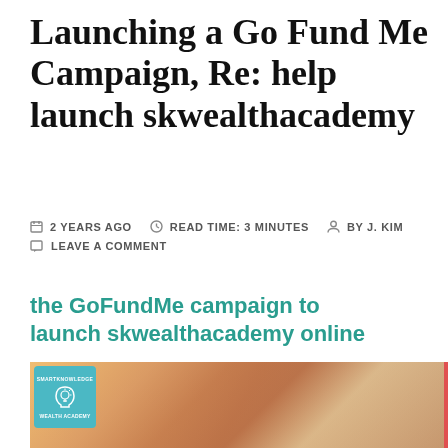Launching a Go Fund Me Campaign, Re: help launch skwealthacademy
2 YEARS AGO   READ TIME: 3 MINUTES   BY J. KIM
LEAVE A COMMENT
the GoFundMe campaign to launch skwealthacademy online
[Figure (photo): Photo of smiling young people outdoors, with a teal SmartKnowledge Wealth Academy logo badge in the upper left corner and a red vertical stripe on the right edge]